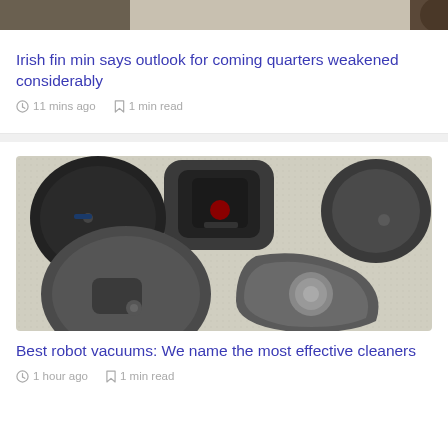[Figure (photo): Top portion of a news article image showing people (partially cropped at top)]
Irish fin min says outlook for coming quarters weakened considerably
11 mins ago   1 min read
[Figure (photo): Top-down view of multiple robot vacuum cleaners on a carpet]
Best robot vacuums: We name the most effective cleaners
1 hour ago   1 min read